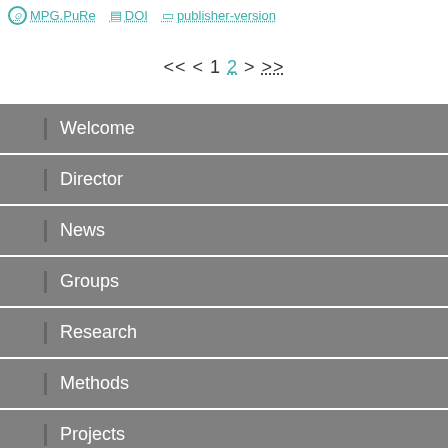MPG.PuRe   DOI   publisher-version
<< < 1 2 > >>
Welcome
Director
News
Groups
Research
Methods
Projects